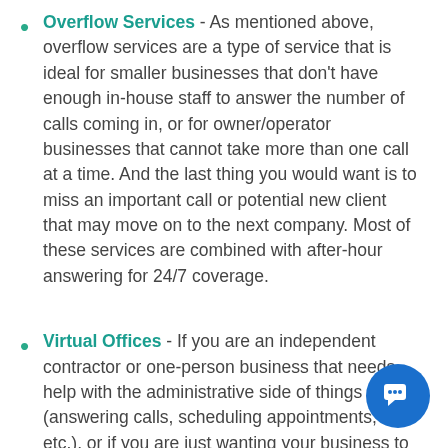Overflow Services - As mentioned above, overflow services are a type of service that is ideal for smaller businesses that don't have enough in-house staff to answer the number of calls coming in, or for owner/operator businesses that cannot take more than one call at a time. And the last thing you would want is to miss an important call or potential new client that may move on to the next company. Most of these services are combined with after-hour answering for 24/7 coverage.
Virtual Offices - If you are an independent contractor or one-person business that needs help with the administrative side of things (answering calls, scheduling appointments, etc.), or if you are just wanting your business to have the